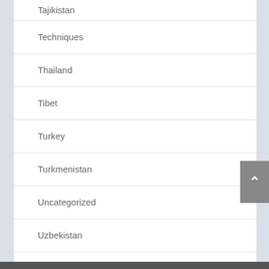Tajikistan
Techniques
Thailand
Tibet
Turkey
Turkmenistan
Uncategorized
Uzbekistan
Videos